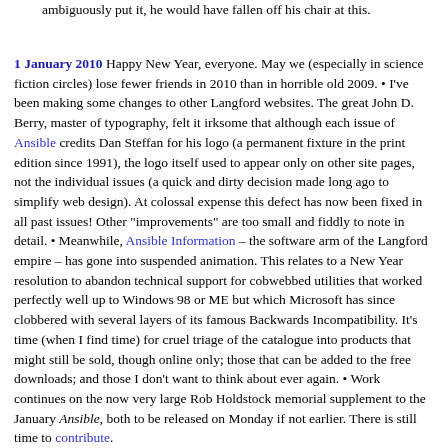ambiguously put it, he would have fallen off his chair at this.
1 January 2010 Happy New Year, everyone. May we (especially in science fiction circles) lose fewer friends in 2010 than in horrible old 2009. • I've been making some changes to other Langford websites. The great John D. Berry, master of typography, felt it irksome that although each issue of Ansible credits Dan Steffan for his logo (a permanent fixture in the print edition since 1991), the logo itself used to appear only on other site pages, not the individual issues (a quick and dirty decision made long ago to simplify web design). At colossal expense this defect has now been fixed in all past issues! Other "improvements" are too small and fiddly to note in detail. • Meanwhile, Ansible Information – the software arm of the Langford empire – has gone into suspended animation. This relates to a New Year resolution to abandon technical support for cobwebbed utilities that worked perfectly well up to Windows 98 or ME but which Microsoft has since clobbered with several layers of its famous Backwards Incompatibility. It's time (when I find time) for cruel triage of the catalogue into products that might still be sold, though online only; those that can be added to the free downloads; and those I don't want to think about ever again. • Work continues on the now very large Rob Holdstock memorial supplement to the January Ansible, both to be released on Monday if not earlier. There is still time to contribute.